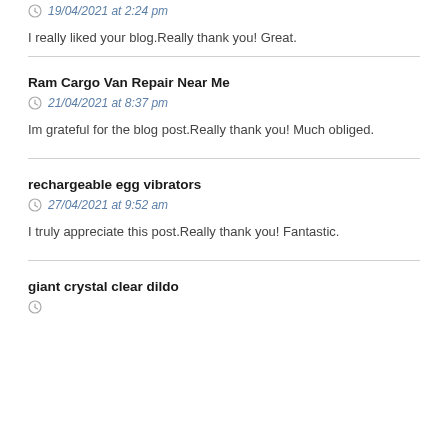19/04/2021 at 2:24 pm
I really liked your blog.Really thank you! Great.
Ram Cargo Van Repair Near Me
21/04/2021 at 8:37 pm
Im grateful for the blog post.Really thank you! Much obliged.
rechargeable egg vibrators
27/04/2021 at 9:52 am
I truly appreciate this post.Really thank you! Fantastic.
giant crystal clear dildo